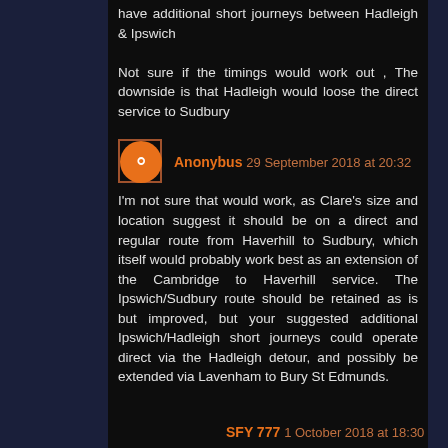have additional short journeys between Hadleigh & Ipswich
Not sure if the timings would work out , The downside is that Hadleigh would loose the direct service to Sudbury
Anonybus 29 September 2018 at 20:32
I'm not sure that would work, as Clare's size and location suggest it should be on a direct and regular route from Haverhill to Sudbury, which itself would probably work best as an extension of the Cambridge to Haverhill service. The Ipswich/Sudbury route should be retained as is but improved, but your suggested additional Ipswich/Hadleigh short journeys could operate direct via the Hadleigh detour, and possibly be extended via Lavenham to Bury St Edmunds.
SFY 777 1 October 2018 at 18:30